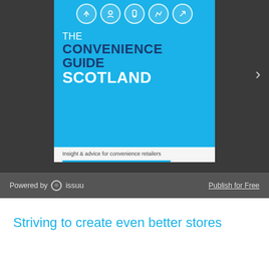[Figure (screenshot): Issuu embedded document viewer showing the cover of 'The Convenience Guide Scotland – Insight & advice for convenience retailers', page 1 of 60, with navigation arrow, toolbar with page indicator, slider, Issuu logo, zoom and fullscreen icons, and a Powered by Issuu footer bar with Publish for Free link.]
Striving to create even better stores